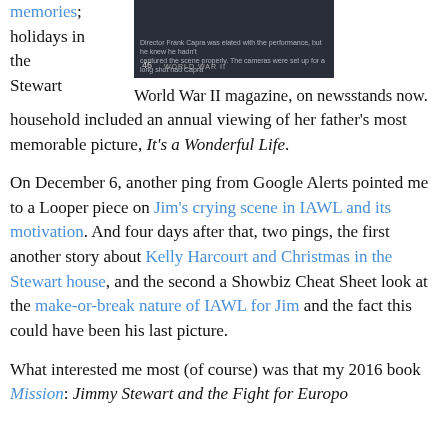memories; holidays in the Stewart household included an annual viewing of her father's most memorable picture, It's a Wonderful Life.
[Figure (photo): Dark image from World War II magazine showing page 46 with text about Director Frank Capra]
World War II magazine, on newsstands now.
On December 6, another ping from Google Alerts pointed me to a Looper piece on Jim's crying scene in IAWL and its motivation. And four days after that, two pings, the first another story about Kelly Harcourt and Christmas in the Stewart house, and the second a Showbiz Cheat Sheet look at the make-or-break nature of IAWL for Jim and the fact this could have been his last picture.
What interested me most (of course) was that my 2016 book Mission: Jimmy Stewart and the Fight for Europo